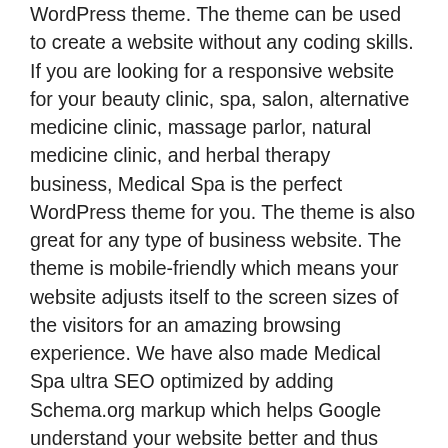WordPress theme. The theme can be used to create a website without any coding skills. If you are looking for a responsive website for your beauty clinic, spa, salon, alternative medicine clinic, massage parlor, natural medicine clinic, and herbal therapy business, Medical Spa is the perfect WordPress theme for you. The theme is also great for any type of business website. The theme is mobile-friendly which means your website adjusts itself to the screen sizes of the visitors for an amazing browsing experience. We have also made Medical Spa ultra SEO optimized by adding Schema.org markup which helps Google understand your website better and thus rank you higher. The theme is also speed optimized. A fast loading website, in addition to helping you keep your users, helps you rank higher in search engines as well because Google has made speed a crucial ranking factor in recent years. All these features of Medical Spa come with a friendly and intuitive theme panel that helps you create and customize your website as a DIY project. Medical Spa also comes with regular updates so that your website always uses best web practice. The clean